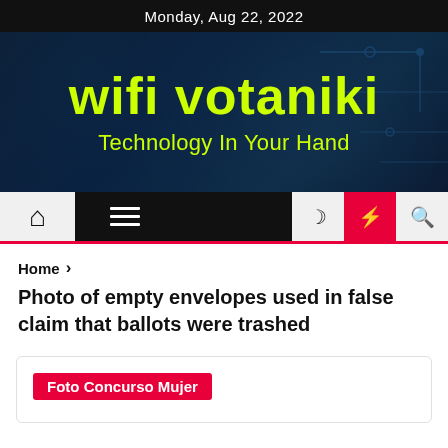Monday, Aug 22, 2022
[Figure (illustration): Website hero banner with dark blue background showing wifi votaniki branding with yellow-green text]
wifi votaniki
Technology In Your Hand
[Figure (screenshot): Navigation bar with home icon, hamburger menu, dark/light mode, lightning bolt (red), and search icons]
Home >
Photo of empty envelopes used in false claim that ballots were trashed
Foto Concurso Mujer